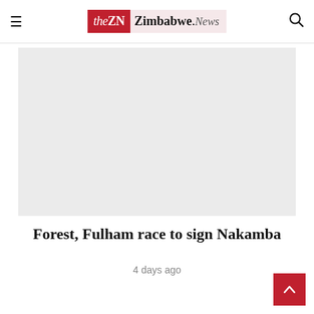theZN Zimbabwe.News
[Figure (photo): Large light gray image placeholder for article photo]
Forest, Fulham race to sign Nakamba
4 days ago